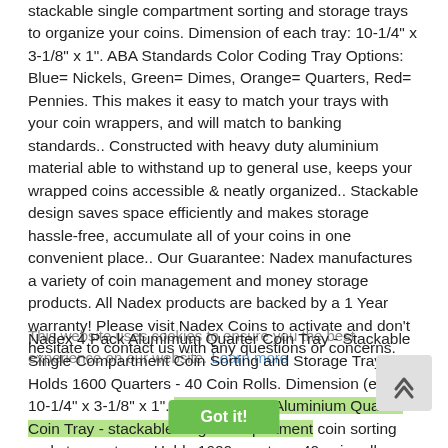stackable single compartment sorting and storage trays to organize your coins. Dimension of each tray: 10-1/4" x 3-1/8" x 1". ABA Standards Color Coding Tray Options: Blue= Nickels, Green= Dimes, Orange= Quarters, Red= Pennies. This makes it easy to match your trays with your coin wrappers, and will match to banking standards.. Constructed with heavy duty aluminium material able to withstand up to general use, keeps your wrapped coins accessible & neatly organized.. Stackable design saves space efficiently and makes storage hassle-free, accumulate all of your coins in one convenient place.. Our Guarantee: Nadex manufactures a variety of coin management and money storage products. All Nadex products are backed by a 1 Year warranty! Please visit Nadex Coins to activate and don't hesitate to contact us with any questions or concerns.
This website uses cookies to ensure you the best experience on our website. Learn more
Nadex 4 Pack Alumimum Quarter Coin Tray - Stackable Single Compartment Coin Sorting and Storage Tray - Holds 1600 Quarters - 40 Coin Rolls. Dimension (each): 10-1/4" x 3-1/8" x 1". Nadex 4 Pack Aluminium Quarter Coin Tray - stackable single compartment coin sorting and storage tray - Holds 1600 quarters, 40 coin rolls or 400 US dollar